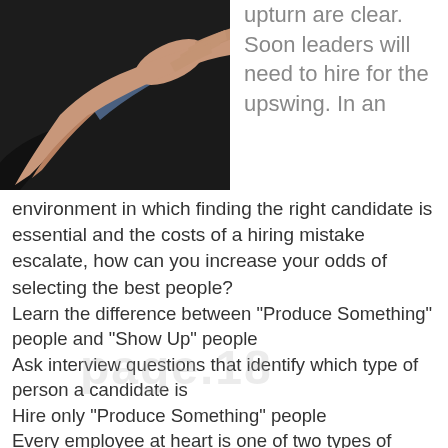[Figure (photo): A person in a suit extending a hand for a handshake, photographed from the side. The background is mostly dark (suit) with the arm and hand reaching toward the viewer.]
upturn are clear. Soon leaders will need to hire for the upswing. In an environment in which finding the right candidate is essential and the costs of a hiring mistake escalate, how can you increase your odds of selecting the best people?
Learn the difference between "Produce Something" people and "Show Up" people
Ask interview questions that identify which type of person a candidate is
Hire only "Produce Something" people
Every employee at heart is one of two types of individual: a "Produce Something" individual or a